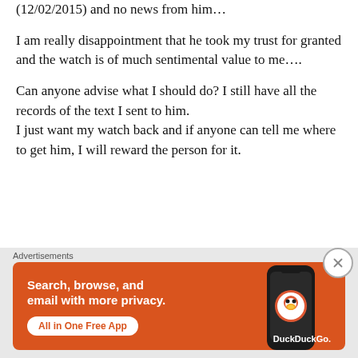(12/02/2015) and no news from him…
I am really disappointment that he took my trust for granted and the watch is of much sentimental value to me….
Can anyone advise what I should do? I still have all the records of the text I sent to him.
I just want my watch back and if anyone can tell me where to get him, I will reward the person for it.
Advertisements
[Figure (infographic): DuckDuckGo advertisement banner. Orange background with white text reading 'Search, browse, and email with more privacy.' and 'All in One Free App'. Shows a phone with DuckDuckGo logo and 'DuckDuckGo.' text.]